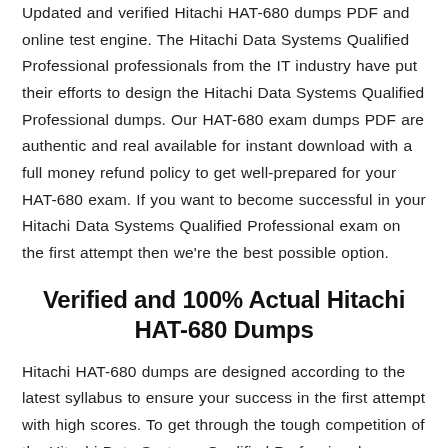Updated and verified Hitachi HAT-680 dumps PDF and online test engine. The Hitachi Data Systems Qualified Professional professionals from the IT industry have put their efforts to design the Hitachi Data Systems Qualified Professional dumps. Our HAT-680 exam dumps PDF are authentic and real available for instant download with a full money refund policy to get well-prepared for your HAT-680 exam. If you want to become successful in your Hitachi Data Systems Qualified Professional exam on the first attempt then we're the best possible option.
Verified and 100% Actual Hitachi HAT-680 Dumps
Hitachi HAT-680 dumps are designed according to the latest syllabus to ensure your success in the first attempt with high scores. To get through the tough competition of the Hitachi Data Systems Qualified Professional exams it is highly recommended to prepare according to the actual format of the Hitachi Data